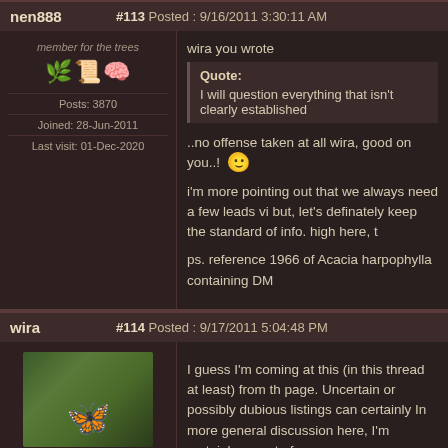nen888 | #113 Posted : 9/16/2011 3:30:11 AM
member for the trees
Posts: 3870
Joined: 28-Jun-2011
Last visit: 01-Dec-2020
wira you wrote
Quote: I will question everything that isn't clearly established
..no offense taken at all wira, good on you..! 🙂
i'm more pointing out that we always need a few leads vi but, let's definately keep the standard of info. high here, t
ps. reference 1966 of Acacia harpophylla containing DM
wira | #114 Posted : 9/17/2011 5:04:48 PM
DMT-Nexus member
I guess I'm coming at this (in this thread at least) from th page. Uncertain or possibly dubious listings can certainly In more general discussion here, I'm certainly open to fo based in fact, or lead to new discoveries. But sometimes